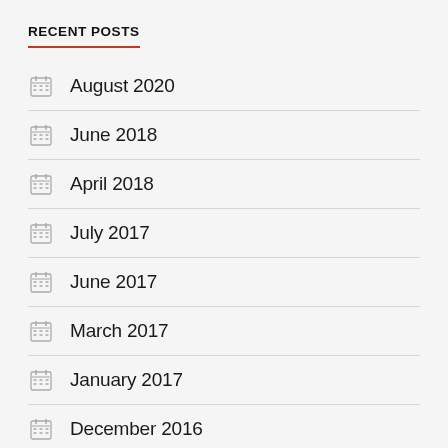RECENT POSTS
August 2020
June 2018
April 2018
July 2017
June 2017
March 2017
January 2017
December 2016